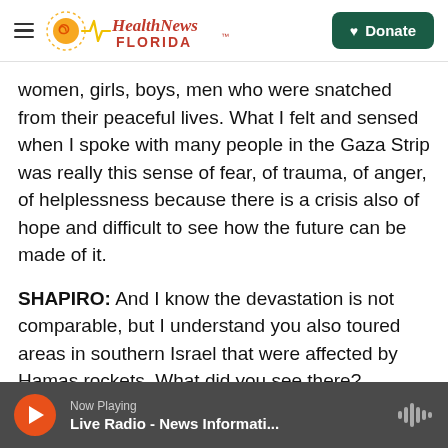Health News Florida — Donate
women, girls, boys, men who were snatched from their peaceful lives. What I felt and sensed when I spoke with many people in the Gaza Strip was really this sense of fear, of trauma, of anger, of helplessness because there is a crisis also of hope and difficult to see how the future can be made of it.
SHAPIRO: And I know the devastation is not comparable, but I understand you also toured areas in southern Israel that were affected by Hamas rockets. What did you see there?
Now Playing — Live Radio - News Informati...